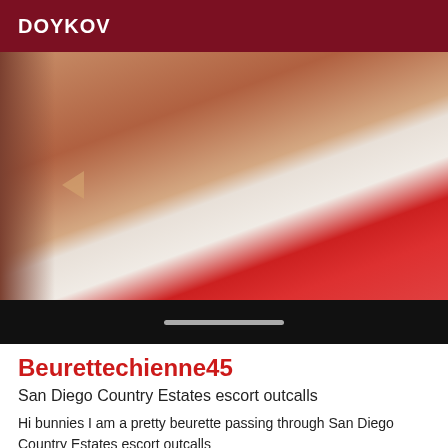DOYKOV
[Figure (photo): Close-up photo of a person wearing red lingerie on white fabric/sheets]
Beurettechienne45
San Diego Country Estates escort outcalls
Hi bunnies I am a pretty beurette passing through San Diego Country Estates escort outcalls